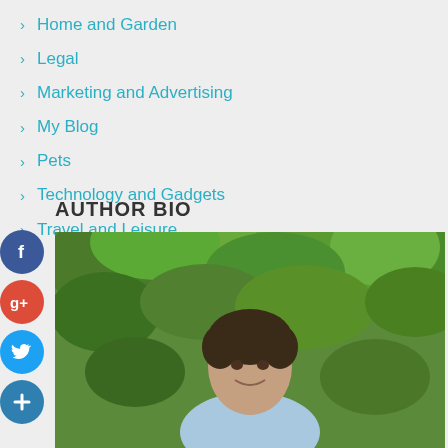Home and Garden
Legal
Marketing and Advertising
My Blog
Pets
Technology and Gadgets
Travel and Leisure
AUTHOR BIO
[Figure (photo): Headshot of a middle-aged man smiling outdoors with green trees in the background]